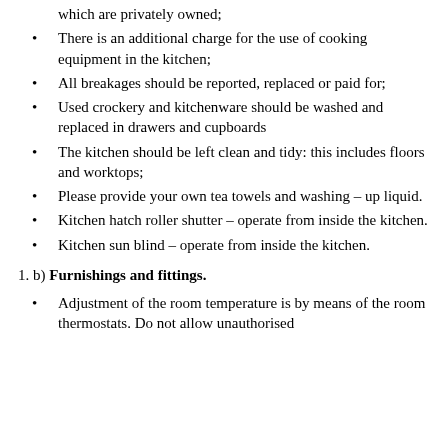which are privately owned;
There is an additional charge for the use of cooking equipment in the kitchen;
All breakages should be reported, replaced or paid for;
Used crockery and kitchenware should be washed and replaced in drawers and cupboards
The kitchen should be left clean and tidy: this includes floors and worktops;
Please provide your own tea towels and washing – up liquid.
Kitchen hatch roller shutter – operate from inside the kitchen.
Kitchen sun blind – operate from inside the kitchen.
1. b) Furnishings and fittings.
Adjustment of the room temperature is by means of the room thermostats. Do not allow unauthorised